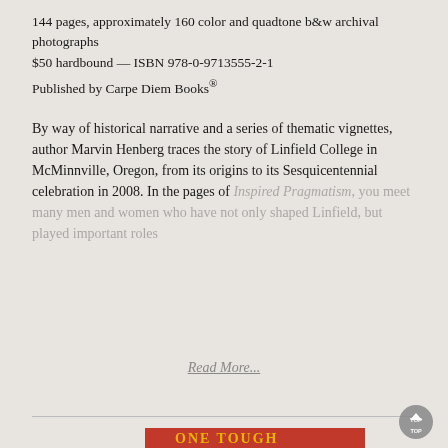144 pages, approximately 160 color and quadtone b&w archival photographs
$50 hardbound — ISBN 978-0-9713555-2-1
Published by Carpe Diem Books®
By way of historical narrative and a series of thematic vignettes, author Marvin Henberg traces the story of Linfield College in McMinnville, Oregon, from its origins to its Sesquicentennial celebration in 2008. In the pages of Inspired Pragmatism, you meet many men and women who have not only shaped Linfield, but played important roles
Read More...
[Figure (photo): Photo of a book cover showing 'ONE TOUGH' text in gold letters on red background]